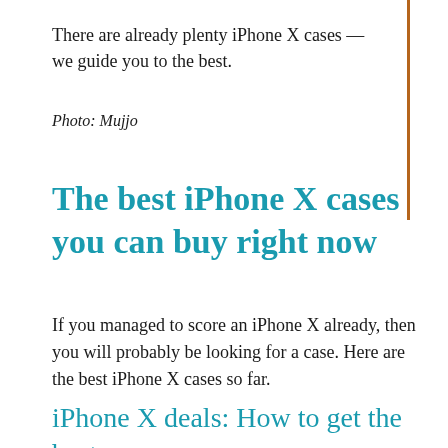There are already plenty iPhone X cases — we guide you to the best.
Photo: Mujjo
The best iPhone X cases you can buy right now
If you managed to score an iPhone X already, then you will probably be looking for a case. Here are the best iPhone X cases so far.
iPhone X deals: How to get the best